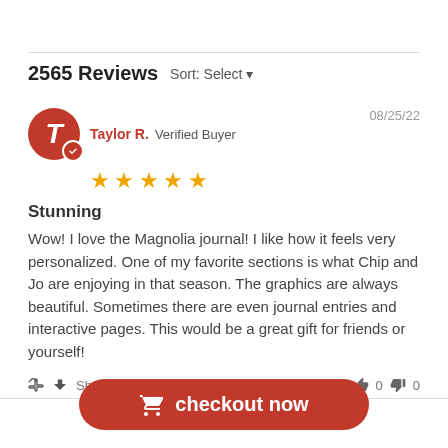2565 Reviews  Sort: Select
Taylor R.  Verified Buyer  08/25/22
★★★★★
Stunning
Wow! I love the Magnolia journal! I like how it feels very personalized. One of my favorite sections is what Chip and Jo are enjoying in that season. The graphics are always beautiful. Sometimes there are even journal entries and interactive pages. This would be a great gift for friends or yourself!
Share  |  Was This Review Helpful?  👍 0  👎 0
checkout now